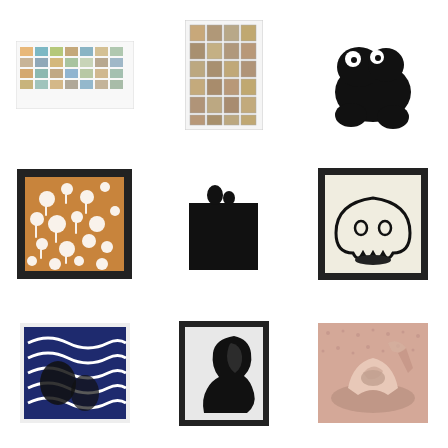[Figure (photo): Grid of small colorful photos in a white bordered frame]
[Figure (photo): Grid of small square artworks/tiles in a white bordered frame]
[Figure (illustration): Black abstract blob shape with white circular eyes on white background]
[Figure (illustration): Brown and white floral/organic pattern artwork in black frame]
[Figure (illustration): Black abstract figure/shape on white background, no frame]
[Figure (illustration): Ghost character outline drawing with oval eyes in black frame on cream background]
[Figure (illustration): Blue and navy abstract wavy pattern with dark shapes in white frame]
[Figure (illustration): Black silhouette profile/head shape in black frame]
[Figure (photo): Photo of a sculptural object, pink/beige tones on textured surface]